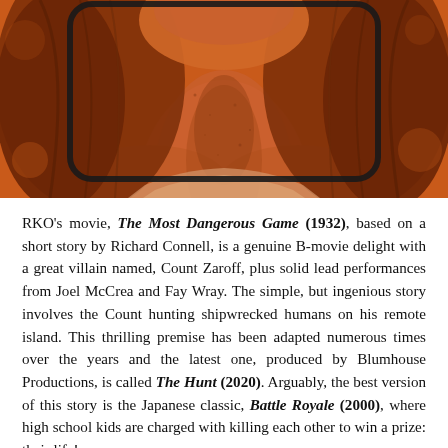[Figure (photo): Orange-tinted close-up photo of a person's neck and lower face area, with long hair visible on the sides. The image appears to be a movie poster styled photo with a vintage/duotone orange effect. A rounded rectangle border frames part of the image.]
RKO's movie, The Most Dangerous Game (1932), based on a short story by Richard Connell, is a genuine B-movie delight with a great villain named, Count Zaroff, plus solid lead performances from Joel McCrea and Fay Wray. The simple, but ingenious story involves the Count hunting shipwrecked humans on his remote island. This thrilling premise has been adapted numerous times over the years and the latest one, produced by Blumhouse Productions, is called The Hunt (2020). Arguably, the best version of this story is the Japanese classic, Battle Royale (2000), where high school kids are charged with killing each other to win a prize: their life!